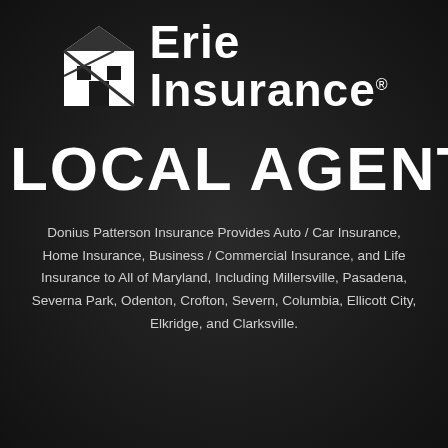[Figure (logo): Erie Insurance logo: stylized house/building icon in black and white on left, with 'Erie Insurance' text in bold white on right with registered trademark symbol]
LOCAL AGENT
Donius Patterson Insurance Provides Auto / Car Insurance, Home Insurance, Business / Commercial Insurance, and Life Insurance to All of Maryland, Including Millersville, Pasadena, Severna Park, Odenton, Crofton, Severn, Columbia, Ellicott City, Elkridge, and Clarksville.